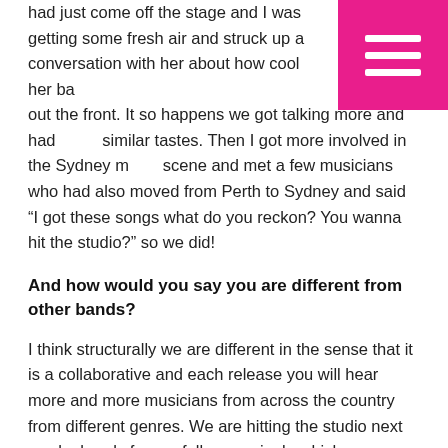had just come off the stage and I was getting some fresh air and struck up a conversation with her about how cool her band out the front. It so happens we got talking more and had similar tastes. Then I got more involved in the Sydney music scene and met a few musicians who had also moved from Perth to Sydney and said "I got these songs what do you reckon? You wanna hit the studio?" so we did!
[Figure (other): Pink hamburger menu button in top-right corner]
And how would you say you are different from other bands?
I think structurally we are different in the sense that it is a collaborative and each release you will hear more and more musicians from across the country from different genres. We are hitting the studio next week already for our follow up single which we are pretty excited about!
What artists do you feel shaped your sound the most and why?
Definitely Suzie Higgie and her band Falling Joys got me into playing guitar as well as Marty Wilson-Piper from The Church. I listen to everything from Explosions in the Sky to Slayer so open